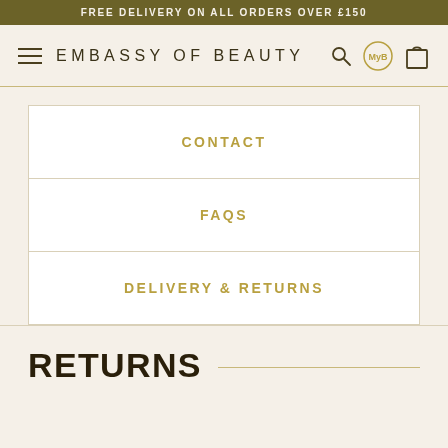FREE DELIVERY ON ALL ORDERS OVER £150
EMBASSY OF BEAUTY
CONTACT
FAQS
DELIVERY & RETURNS
RETURNS